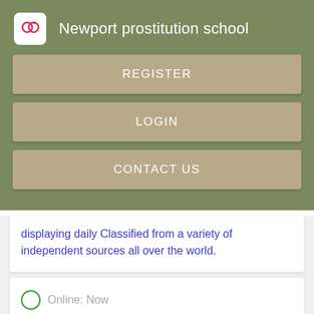Newport prostitution school
REGISTER
LOGIN
CONTACT US
displaying daily Classified from a variety of independent sources all over the world.
Online: Now